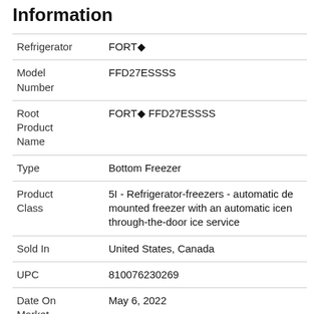Information
| Field | Value |
| --- | --- |
| Refrigerator | FORT◆ |
| Model Number | FFD27ESSSS |
| Root Product Name | FORT◆ FFD27ESSSS |
| Type | Bottom Freezer |
| Product Class | 5I - Refrigerator-freezers - automatic de mounted freezer with an automatic icen through-the-door ice service |
| Sold In | United States, Canada |
| UPC | 810076230269 |
| Date On Market | May 6, 2022 |